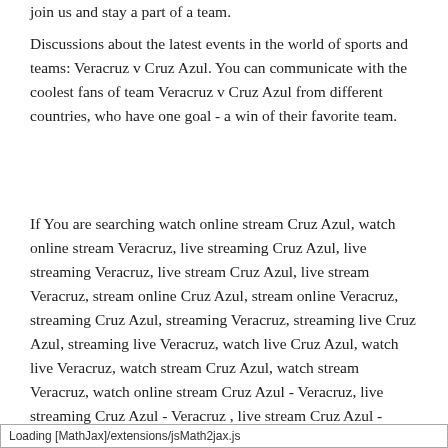join us and stay a part of a team.
Discussions about the latest events in the world of sports and teams: Veracruz v Cruz Azul. You can communicate with the coolest fans of team Veracruz v Cruz Azul from different countries, who have one goal - a win of their favorite team.
If You are searching watch online stream Cruz Azul, watch online stream Veracruz, live streaming Cruz Azul, live streaming Veracruz, live stream Cruz Azul, live stream Veracruz, stream online Cruz Azul, stream online Veracruz, streaming Cruz Azul, streaming Veracruz, streaming live Cruz Azul, streaming live Veracruz, watch live Cruz Azul, watch live Veracruz, watch stream Cruz Azul, watch stream Veracruz, watch online stream Cruz Azul - Veracruz, live streaming Cruz Azul - Veracruz , live stream Cruz Azul - Veracruz , stream online Cruz Azul - Veracruz , streaming live Cruz Azul - Veracruz , watch live Cruz Azul - Veracruz , watch stream Cruz Azul - Veracruz
Loading [MathJax]/extensions/jsMath2jax.js